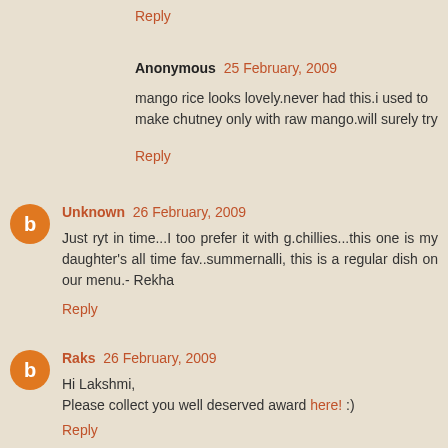Reply
Anonymous  25 February, 2009
mango rice looks lovely.never had this.i used to make chutney only with raw mango.will surely try
Reply
Unknown  26 February, 2009
Just ryt in time...I too prefer it with g.chillies...this one is my daughter's all time fav..summernalli, this is a regular dish on our menu.- Rekha
Reply
Raks  26 February, 2009
Hi Lakshmi,
Please collect you well deserved award here! :)
Reply